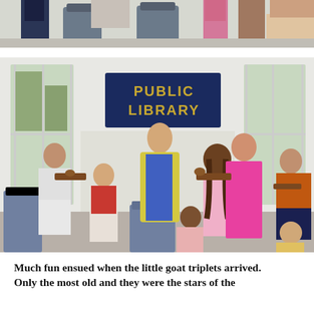[Figure (photo): Partial top photo showing children standing in a room, partially cropped at top of page]
[Figure (photo): Children playing violins in a public library room with a 'PUBLIC LIBRARY' sign on the wall, supervised by a young woman in a yellow cardigan]
Much fun ensued when the little goat triplets arrived. Only the most old and they were the stars of the